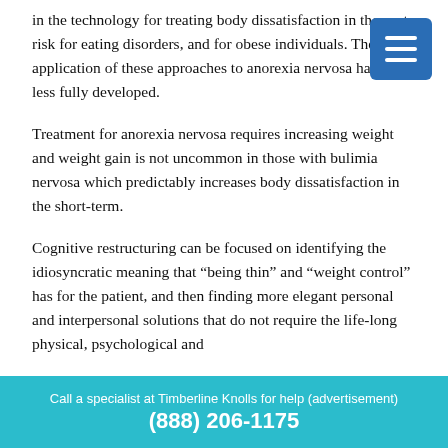There has been remarkable advancement in recent years in the technology for treating body dissatisfaction in those at risk for eating disorders, and for obese individuals. The application of these approaches to anorexia nervosa has been less fully developed.
Treatment for anorexia nervosa requires increasing weight and weight gain is not uncommon in those with bulimia nervosa which predictably increases body dissatisfaction in the short-term.
Cognitive restructuring can be focused on identifying the idiosyncratic meaning that “being thin” and “weight control” has for the patient, and then finding more elegant personal and interpersonal solutions that do not require the life-long physical, psychological and
Call a specialist at Timberline Knolls for help (advertisement)
(888) 206-1175